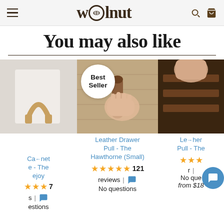wolnut
You may also like
[Figure (photo): Cabinet hardware product - leather pull on white cabinet]
Cabinet - The ejoy
⭐⭐⭐ 7 reviews | No questions
[Figure (photo): Leather Drawer Pull - The Hawthorne (Small) - Best Seller badge shown, hand pulling leather strap on wood drawer]
Leather Drawer Pull - The Hawthorne (Small)
⭐⭐⭐⭐⭐ 121 reviews | No questions
[Figure (photo): Leather pull product on dark wood furniture, partially shown]
Leather Pull - The
⭐⭐⭐ reviews | from $18